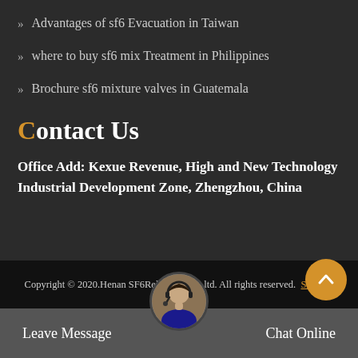Advantages of sf6 Evacuation in Taiwan
where to buy sf6 mix Treatment in Philippines
Brochure sf6 mixture valves in Guatemala
Contact Us
Office Add: Kexue Revenue, High and New Technology Industrial Development Zone, Zhengzhou, China
Copyright © 2020.Henan SF6Relations Co., ltd. All rights reserved. Sitemap
Leave Message
Chat Online